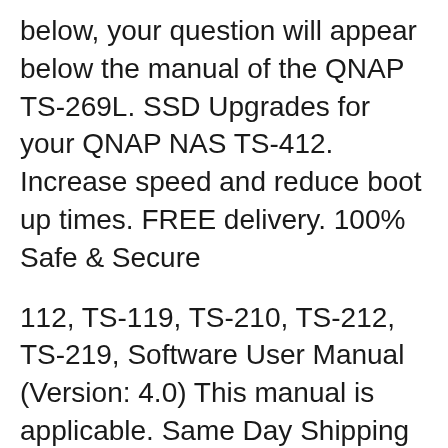below, your question will appear below the manual of the QNAP TS-269L. SSD Upgrades for your QNAP NAS TS-412. Increase speed and reduce boot up times. FREE delivery. 100% Safe & Secure
112, TS-119, TS-210, TS-212, TS-219, Software User Manual (Version: 4.0) This manual is applicable. Same Day Shipping till 8PM on new Qnap TS-453 Pro 8GB RAM 4-Bay The Qnap TS-453 Pro 8GB featuring the easy-to-use QTS operating system, is a powerful, reliable, secure Qnap TS-453 Pro 8GB RAM 4-Bay Professional-Grade Nas, 2 x Ethernet Cable, Quick Dec 02, 2013B B· QNAP TS-470 Pro w/ 4 * Western Digital